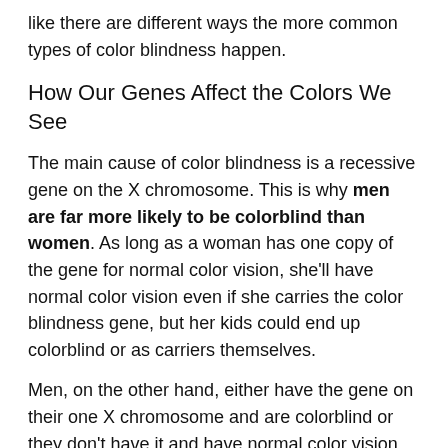like there are different ways the more common types of color blindness happen.
How Our Genes Affect the Colors We See
The main cause of color blindness is a recessive gene on the X chromosome. This is why men are far more likely to be colorblind than women. As long as a woman has one copy of the gene for normal color vision, she'll have normal color vision even if she carries the color blindness gene, but her kids could end up colorblind or as carriers themselves.
Men, on the other hand, either have the gene on their one X chromosome and are colorblind or they don't have it and have normal color vision. The daughters of colorblind men will always be at least carriers of the gene, unless they get the colorblind gene from their mothers, in which case they will also be colorblind.
How Color Vision Works